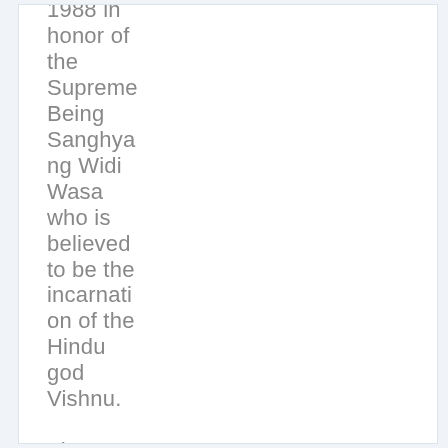1988 in honor of the Supreme Being Sanghyang Widi Wasa who is believed to be the incarnation of the Hindu god Vishnu.

The